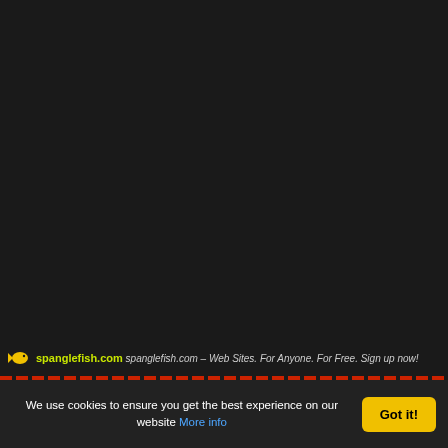[Figure (screenshot): Dark/black background area occupying most of the page, representing a website with dark theme.]
spanglefish.com spanglefish.com – Web Sites. For Anyone. For Free. Sign up now!
We use cookies to ensure you get the best experience on our website More info